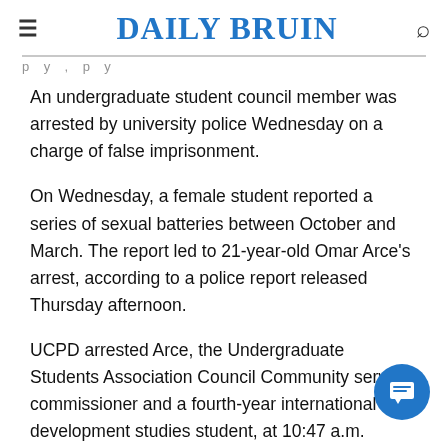DAILY BRUIN
An undergraduate student council member was arrested by university police Wednesday on a charge of false imprisonment.
On Wednesday, a female student reported a series of sexual batteries between October and March. The report led to 21-year-old Omar Arce's arrest, according to a police report released Thursday afternoon.
UCPD arrested Arce, the Undergraduate Students Association Council Community service commissioner and a fourth-year international development studies student, at 10:47 a.m. Wednesday and transported him to the Los Angeles County Sheriff's Department in